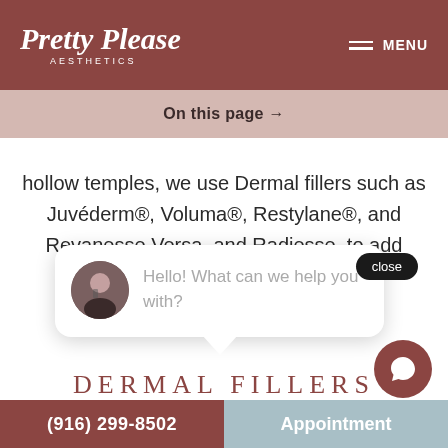[Figure (logo): Pretty Please Aesthetics logo in white script font on dark rose/brown header background]
On this page →
hollow temples, we use Dermal fillers such as Juvéderm®, Voluma®, Restylane®, and Revanesse Versa, and Radiesse, to add youthful volume and
close
Hello! What can we help you with?
DERMAL FILLERS
PDO THREAD LIFT
(916) 299-8502   Appointment